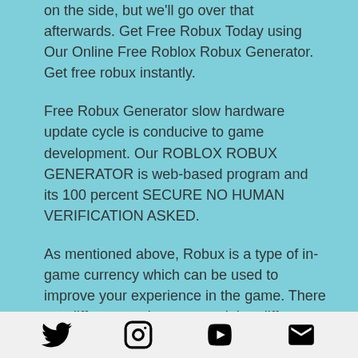on the side, but we'll go over that afterwards. Get Free Robux Today using Our Online Free Roblox Robux Generator. Get free robux instantly.
Free Robux Generator slow hardware update cycle is conducive to game development. Our ROBLOX ROBUX GENERATOR is web-based program and its 100 percent SECURE NO HUMAN VERIFICATION ASKED.
As mentioned above, Robux is a type of in-game currency which can be used to improve your experience in the game. There are different packages containing different amount of Robux in the game's store.
You can acquire Robux by buying it directly, or by purchasing a Roblox subscription for
[Twitter] [Instagram] [YouTube] [Email]